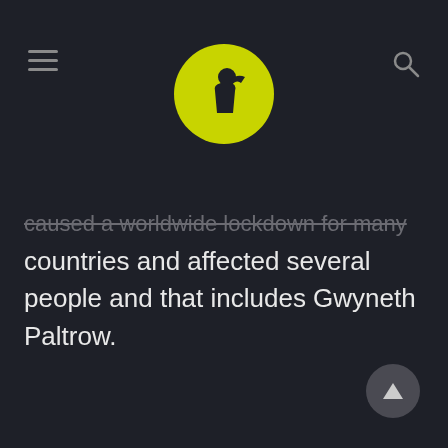[Site logo with hamburger menu and search icon]
caused a worldwide lockdown for many countries and affected several people and that includes Gwyneth Paltrow.